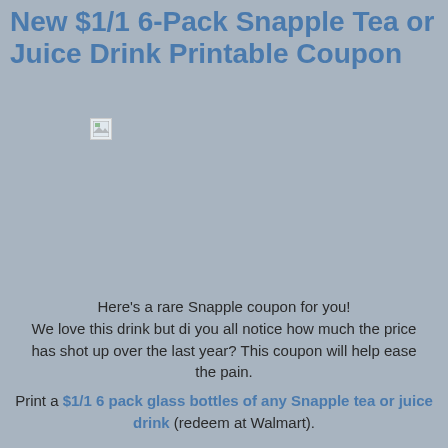New $1/1 6-Pack Snapple Tea or Juice Drink Printable Coupon
[Figure (other): Broken image placeholder icon for a Snapple coupon image]
Here's a rare Snapple coupon for you! We love this drink but di you all notice how much the price has shot up over the last year? This coupon will help ease the pain.
Print a $1/1 6 pack glass bottles of any Snapple tea or juice drink (redeem at Walmart).